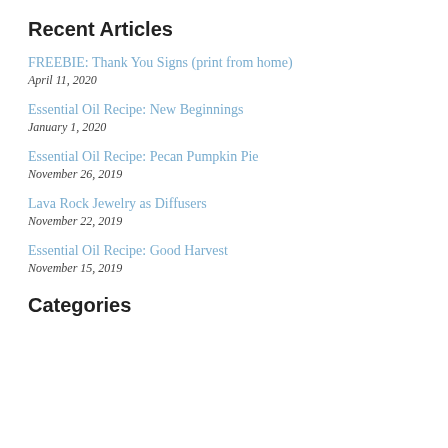Recent Articles
FREEBIE: Thank You Signs (print from home)
April 11, 2020
Essential Oil Recipe: New Beginnings
January 1, 2020
Essential Oil Recipe: Pecan Pumpkin Pie
November 26, 2019
Lava Rock Jewelry as Diffusers
November 22, 2019
Essential Oil Recipe: Good Harvest
November 15, 2019
Categories